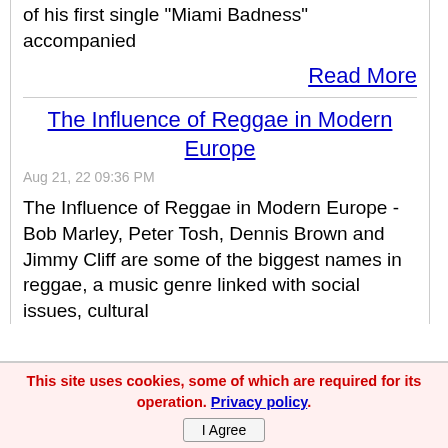of his first single "Miami Badness" accompanied
Read More
The Influence of Reggae in Modern Europe
Aug 21, 22 09:36 PM
The Influence of Reggae in Modern Europe - Bob Marley, Peter Tosh, Dennis Brown and Jimmy Cliff are some of the biggest names in reggae, a music genre linked with social issues, cultural
This site uses cookies, some of which are required for its operation. Privacy policy. I Agree